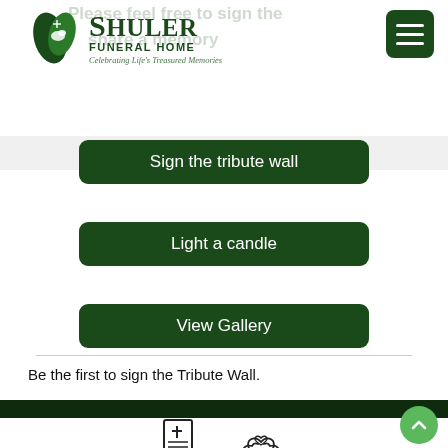[Figure (logo): Shuler Funeral Home logo with leaf/dove icon and tagline 'Celebrating Life's Treasured Memories']
Please feel free to sign the... share a memory
[Figure (other): Hamburger menu button (three horizontal lines) in dark green rounded square]
Sign the tribute wall
Light a candle
View Gallery
Be the first to sign the Tribute Wall.
[Figure (illustration): Obituary icon: document with cross and lines]
[Figure (illustration): Tribute Wall icon: two hearts held by cupped hands]
Obituary
Tribute Wall